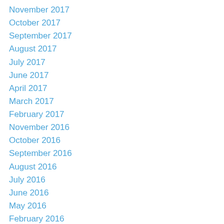November 2017
October 2017
September 2017
August 2017
July 2017
June 2017
April 2017
March 2017
February 2017
November 2016
October 2016
September 2016
August 2016
July 2016
June 2016
May 2016
February 2016
January 2016
December 2015
November 2015